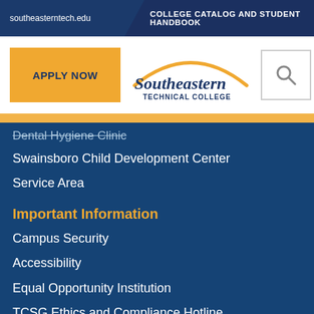southeasterntech.edu | COLLEGE CATALOG AND STUDENT HANDBOOK
[Figure (logo): Southeastern Technical College logo with orange arc and dark blue text]
Dental Hygiene Clinic
Swainsboro Child Development Center
Service Area
Important Information
Campus Security
Accessibility
Equal Opportunity Institution
TCSG Ethics and Compliance Hotline
Human Trafficking Hotline
Website Privacy Statement
Disclaimer